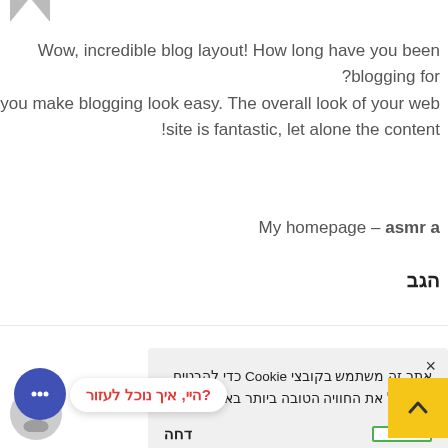Wow, incredible blog layout! How long have you been blogging for? you make blogging look easy. The overall look of your web site is fantastic, let alone the content!
My homepage – asmr a
הגב
אתר זה משתמש בקובצי Cookie כדי להבטיח שתקבל את החוויה הטובה ביותר באתר שלנו.
דחה
?היי, איך נוכל לעזור